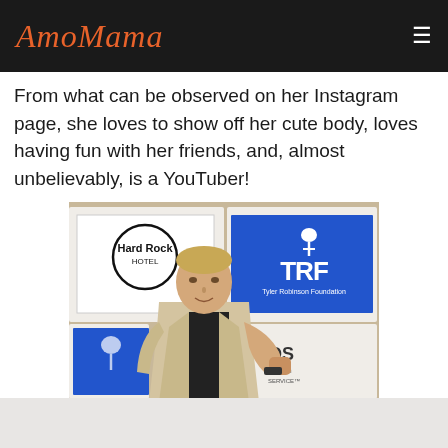AmoMama
From what can be observed on her Instagram page, she loves to show off her cute body, loves having fun with her friends, and, almost unbelievably, is a YouTuber!
[Figure (photo): A blonde man in a light beige blazer and black shirt posing with a raised fist in front of sponsor banners including Hard Rock Hotel and Tyler Robinson Foundation (TRF) logos]